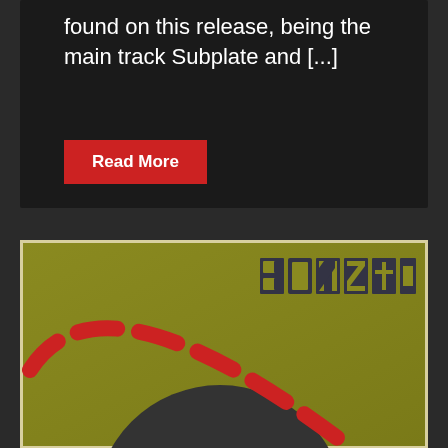found on this release, being the main track Subplate and [...]
Read More
[Figure (illustration): Bonzai record label artwork showing a yellow-green background with a large dark circular shape and red dashed curved line, with 'BONZAI' text logo in the upper right corner]